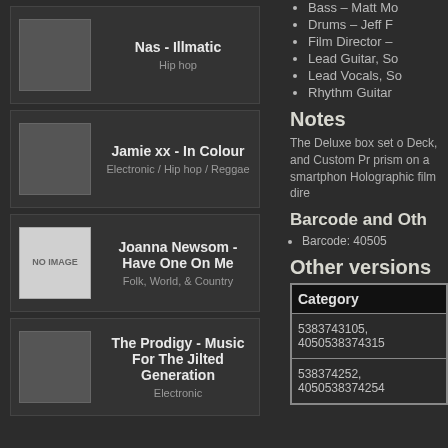[Figure (other): Album card: Nas - Illmatic, Hip hop genre, with preview image thumbnail]
[Figure (other): Album card: Jamie xx - In Colour, Electronic / Hip hop / Reggae genre, with preview image thumbnail]
[Figure (other): Album card: Joanna Newsom - Have One On Me, Folk, World, & Country genre, NO IMAGE placeholder]
[Figure (other): Album card: The Prodigy - Music For The Jilted Generation, Electronic genre, with preview image thumbnail]
Bass – Matt Mo
Drums – Jeff F
Film Director –
Lead Guitar, So
Lead Vocals, So
Rhythm Guitar
Notes
The Deluxe box set o Deck, and Custom Pr prism on a smartphon Holographic film dire
Barcode and Oth
Barcode: 40505
Other versions
| Category |
| --- |
| 5383743105, 4050538374315 |
| 538374252, 4050538374254 |